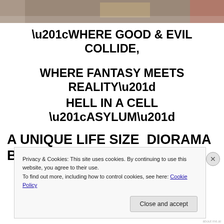[Figure (photo): Partial top-of-page photo showing people and props, cropped at top of viewport]
“WHERE GOOD & EVIL COLLIDE,

WHERE FANTASY MEETS REALITY”
HELL IN A CELL “ASYLUM”
A UNIQUE LIFE SIZE  DIORAMA BY
Privacy & Cookies: This site uses cookies. By continuing to use this website, you agree to their use.
To find out more, including how to control cookies, see here: Cookie Policy
Close and accept